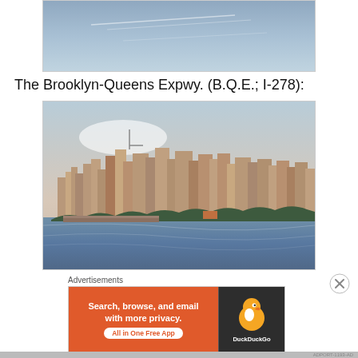[Figure (photo): Partial photo at top of page showing sky with light streaks]
The Brooklyn-Queens Expwy. (B.Q.E.; I-278):
[Figure (photo): City skyline viewed from across water, with buildings, trees and pier in foreground]
Advertisements
[Figure (screenshot): DuckDuckGo advertisement banner: 'Search, browse, and email with more privacy. All in One Free App' with DuckDuckGo duck logo on dark background]